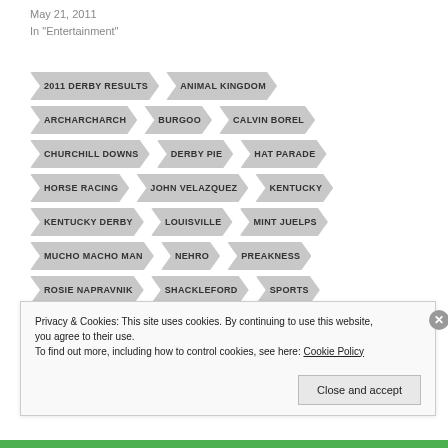May 21, 2011
In "Entertainment"
2011 DERBY RESULTS
ANIMAL KINGDOM
ARCHARCHARCH
BURGOO
CALVIN BOREL
CHURCHILL DOWNS
DERBY PIE
HAT PARADE
HORSE RACING
JOHN VELAZQUEZ
KENTUCKY
KENTUCKY DERBY
LOUISVILLE
MINT JUELPS
MUCHO MACHO MAN
NEHRO
PREAKNESS
ROSIE NAPRAVNIK
SHACKLEFORD
SPORTS
TRIPLE CROWN
Privacy & Cookies: This site uses cookies. By continuing to use this website, you agree to their use.
To find out more, including how to control cookies, see here: Cookie Policy
Close and accept